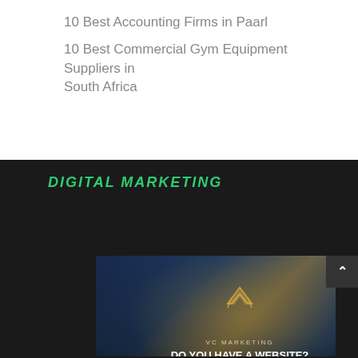10 Best Accounting Firms in Paarl
10 Best Commercial Gym Equipment Suppliers in South Africa
DIGITAL MARKETING
[Figure (photo): VC Marketing advertisement banner showing a person looking at city skyline with the text: VC MARKETING, DO YOU HAVE A WEBSITE? BUT MAKING NO MONEY? LET'S TALK! www.vcmarketing.co.za]